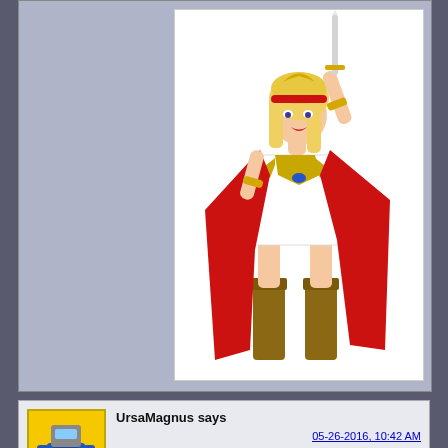[Figure (photo): She-Ra action figure: female superhero figure with blonde hair, white dress, red cape, gold accessories, brown boots, holding sword aloft]
[Figure (illustration): Forum avatar: pixel/cartoon art of a blue and grey robot character (UrsaMagnus)]
UrsaMagnus says
05-26-2016, 10:42 AM
Good. Apparently no DCUC items I'd have to stress over and chase down after all. Both relieved and depressed at the same time.